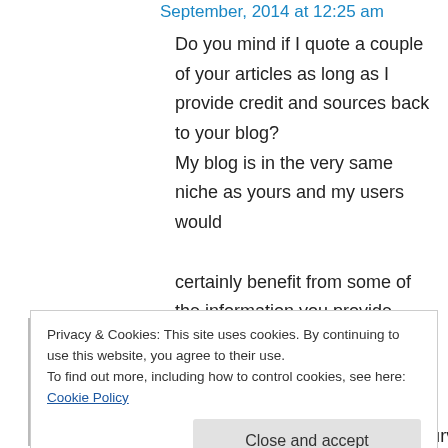September, 2014 at 12:25 am
Do you mind if I quote a couple of your articles as long as I provide credit and sources back to your blog?
My blog is in the very same niche as yours and my users would
certainly benefit from some of the information you provide here.
Please let me know if this ok with you. Regards!
↳ Reply
Privacy & Cookies: This site uses cookies. By continuing to use this website, you agree to their use.
To find out more, including how to control cookies, see here: Cookie Policy
Close and accept
have more control than your S-Curve technique